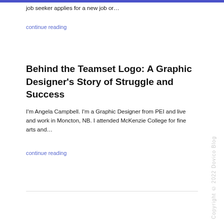job seeker applies for a new job or…
continue reading
Behind the Teamset Logo: A Graphic Designer's Story of Struggle and Success
I'm Angela Campbell. I'm a Graphic Designer from PEI and live and work in Moncton, NB. I attended McKenzie College for fine arts and…
continue reading
Copyright © 2022 Dovico Blog